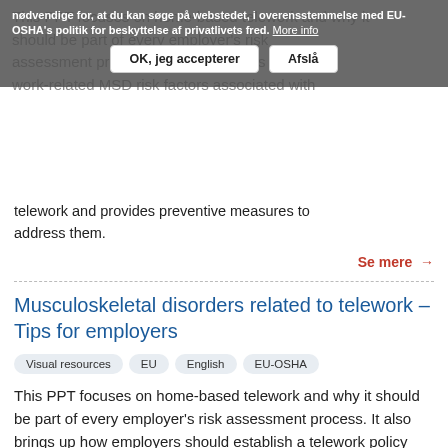This PPT focuses on home-based telework and why it should be part of every employer's risk assessment process. It also describes the main work-related MSD risk factors associated with telework and provides preventive measures to address them.
Se mere →
Musculoskeletal disorders related to telework – Tips for employers
Visual resources  EU  English  EU-OSHA
This PPT focuses on home-based telework and why it should be part of every employer's risk assessment process. It also brings up how employers should establish a telework policy that includes provisions on occupational risk